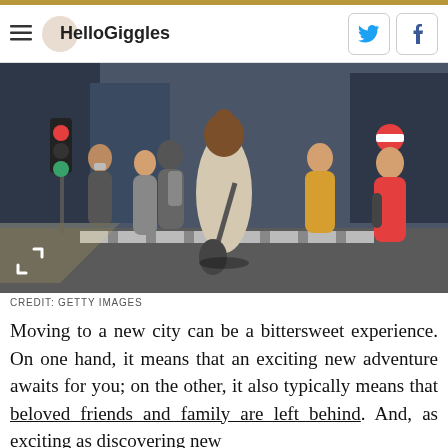HelloGiggles
[Figure (photo): People crossing a busy city street, viewed from behind a woman with brown hair in a bun wearing a beige jacket. People wearing masks, city buildings and traffic lights in background.]
CREDIT: GETTY IMAGES
Moving to a new city can be a bittersweet experience. On one hand, it means that an exciting new adventure awaits for you; on the other, it also typically means that beloved friends and family are left behind. And, as exciting as discovering new